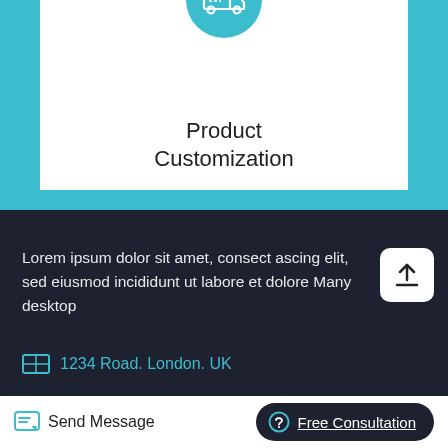[Figure (illustration): Teal circle icon with a delivery truck / customization symbol inside, centered at top of white card on teal background]
Product Customization
Lorem ipsum dolor sit amet, consect ascing elit, sed eiusmod incididunt ut labore et dolore Many desktop
1234 Road. London. UK
Send Message
Free Consultation